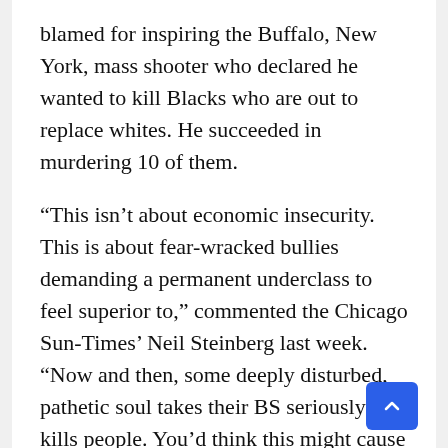blamed for inspiring the Buffalo, New York, mass shooter who declared he wanted to kill Blacks who are out to replace whites. He succeeded in murdering 10 of them.
“This isn’t about economic insecurity. This is about fear-wracked bullies demanding a permanent underclass to feel superior to,” commented the Chicago Sun-Times’ Neil Steinberg last week. “Now and then, some deeply disturbed, pathetic soul takes their BS seriously and kills people. You’d think this might cause their r